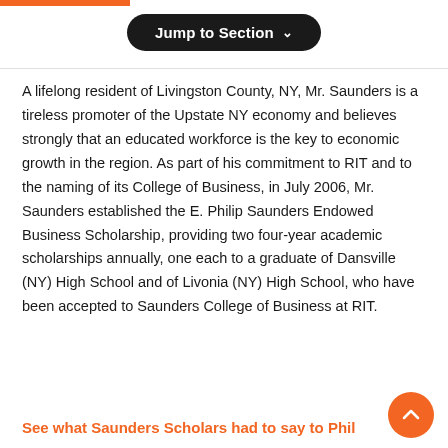Jump to Section
A lifelong resident of Livingston County, NY, Mr. Saunders is a tireless promoter of the Upstate NY economy and believes strongly that an educated workforce is the key to economic growth in the region. As part of his commitment to RIT and to the naming of its College of Business, in July 2006, Mr. Saunders established the E. Philip Saunders Endowed Business Scholarship, providing two four-year academic scholarships annually, one each to a graduate of Dansville (NY) High School and of Livonia (NY) High School, who have been accepted to Saunders College of Business at RIT.
See what Saunders Scholars had to say to Phil